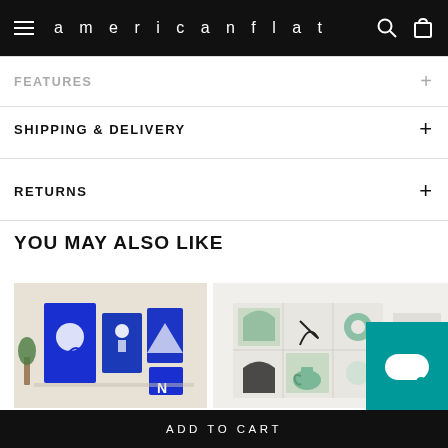americanflat
FEATURES
SHIPPING & DELIVERY
RETURNS
YOU MAY ALSO LIKE
[Figure (photo): Product photo: blue art prints displayed in a gallery wall arrangement]
[Figure (photo): Product photo: green and neutral art prints arranged in a grid display]
ADD TO CART